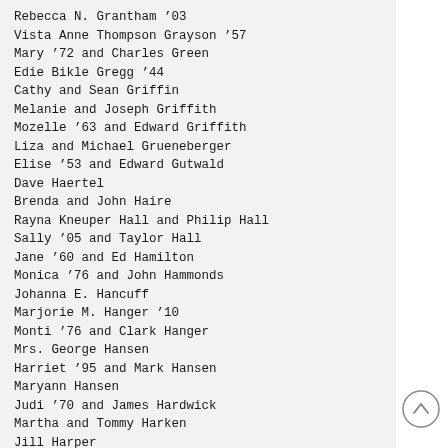Rebecca N. Grantham '03
Vista Anne Thompson Grayson '57
Mary '72 and Charles Green
Edie Bikle Gregg '44
Cathy and Sean Griffin
Melanie and Joseph Griffith
Mozelle '63 and Edward Griffith
Liza and Michael Grueneberger
Elise '53 and Edward Gutwald
Dave Haertel
Brenda and John Haire
Rayna Kneuper Hall and Philip Hall
Sally '05 and Taylor Hall
Jane '60 and Ed Hamilton
Monica '76 and John Hammonds
Johanna E. Hancuff
Marjorie M. Hanger '10
Monti '76 and Clark Hanger
Mrs. George Hansen
Harriet '95 and Mark Hansen
Maryann Hansen
Judi '70 and James Hardwick
Martha and Tommy Harken
Jill Harper